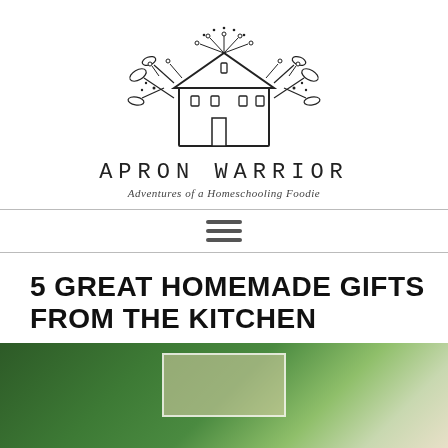[Figure (logo): Apron Warrior blog logo: line-art house with botanical/floral decorations surrounding it, with text 'APRON WARRIOR' and tagline 'Adventures of a Homeschooling Foodie']
5 GREAT HOMEMADE GIFTS FROM THE KITCHEN
[Figure (photo): Partial hero photo showing dark green pine/rosemary branches with a blurred warm background and a light-colored rectangular element]